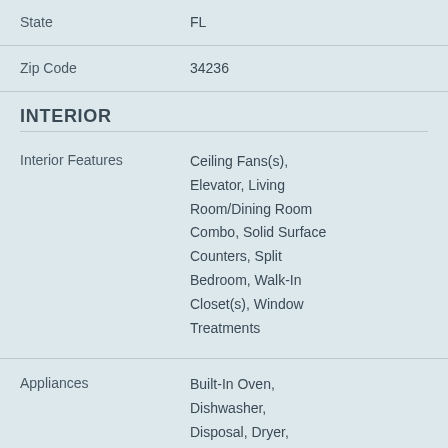| State | FL |
| Zip Code | 34236 |
INTERIOR
| Interior Features | Ceiling Fans(s), Elevator, Living Room/Dining Room Combo, Solid Surface Counters, Split Bedroom, Walk-In Closet(s), Window Treatments |
| Appliances | Built-In Oven, Dishwasher, Disposal, Dryer, Electric Water... |